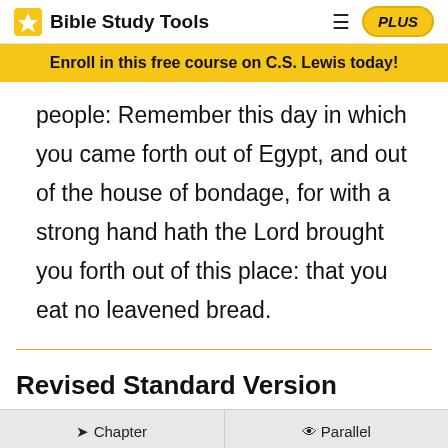Bible Study Tools
Enroll in this free course on C.S. Lewis today!
people: Remember this day in which you came forth out of Egypt, and out of the house of bondage, for with a strong hand hath the Lord brought you forth out of this place: that you eat no leavened bread.
Revised Standard Version
Chapter  Parallel